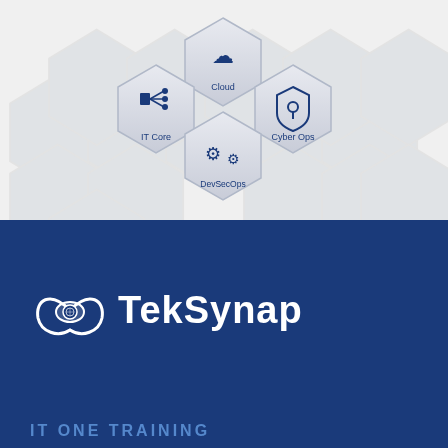[Figure (illustration): White/light gray background with hexagonal honeycomb pattern. Four hexagonal icon badges arranged in a cluster: Cloud (top center, cloud icon), IT Core (left, network/server icon), Cyber Ops (right, shield/lock icon), DevSecOps (bottom center, gear/cog icons). All badges have silver/gray metallic styling with navy blue icons and labels.]
[Figure (logo): TekSynap logo: white eye/synapse circular icon on left, white bold text 'TekSynap' on right, on dark navy blue background.]
IT ONE TRAINING